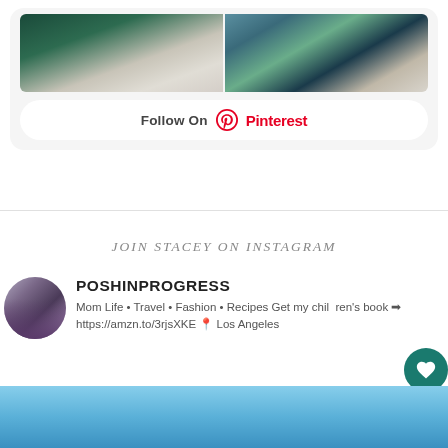[Figure (screenshot): Two fashion photos side by side inside a Pinterest follow widget card]
Follow On Pinterest
JOIN STACEY ON INSTAGRAM
[Figure (photo): Circular avatar photo of a woman with long blonde hair wearing a black jacket]
POSHINPROGRESS
Mom Life • Travel • Fashion • Recipes Get my children's book ➡ https://amzn.to/3rjsXKE 📍 Los Angeles
[Figure (photo): Blue sky background image at bottom of page]